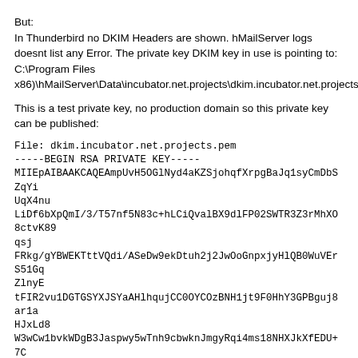But:
In Thunderbird no DKIM Headers are shown. hMailServer logs doesnt list any Error. The private key DKIM key in use is pointing to: C:\Program Files x86)\hMailServer\Data\incubator.net.projects\dkim.incubator.net.projects.pem
This is a test private key, no production domain so this private key can be published:
File: dkim.incubator.net.projects.pem
-----BEGIN RSA PRIVATE KEY-----
MIIEpAIBAAKCAQEAmpUvH5OGlNyd4aKZSjohqfXrpgBaJq1syCmDbSZqYiUqX4nu
LiDf6bXpQmI/3/T57nf5N83c+hLCiQvalBX9dlFP02SWTR3Z3rMhXO8ctvK89qsj
FRkg/gYBWEKTttVQdi/ASeDw9ekDtuh2j2JwOoGnpxjyHlQB0WuVErS51GqZlnyE
tFIR2vu1DGTGSYXJSYaAHlhqujCC0OYCOzBNH1jt9F0HhY3GPBguj8ar1aHJxLd8
W3wCw1bvkWDgB3Jaspwy5wTnh9cbwknJmgyRqi4ms18NHXJkXfEDU+7CFWtLAGsV
Y06kE2myC3/ubWJeGfDNzp8eJFhRMiFMFsAdYwIDAQABAoIBAEqc8YbrPU2DA03S
nuzeDDuuMNUKXHIlwjYHG6HGphjDWaWNvQJU6d8z5+gb5jriUvTQweE2o4+tGGrv
5swNpS7D5qTha07DttKwYc0quRBxL9ZcGm3nmC4kleeVExIv8wto1waR5Zy